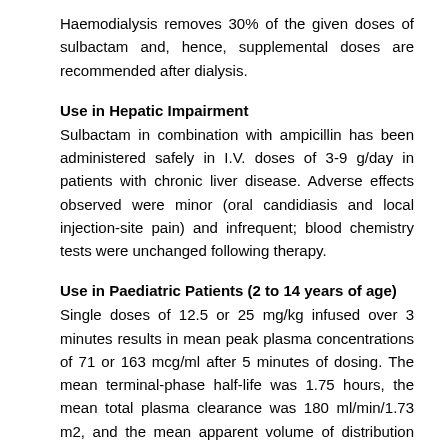Haemodialysis removes 30% of the given doses of sulbactam and, hence, supplemental doses are recommended after dialysis.
Use in Hepatic Impairment
Sulbactam in combination with ampicillin has been administered safely in I.V. doses of 3-9 g/day in patients with chronic liver disease. Adverse effects observed were minor (oral candidiasis and local injection-site pain) and infrequent; blood chemistry tests were unchanged following therapy.
Use in Paediatric Patients (2 to 14 years of age)
Single doses of 12.5 or 25 mg/kg infused over 3 minutes results in mean peak plasma concentrations of 71 or 163 mcg/ml after 5 minutes of dosing. The mean terminal-phase half-life was 1.75 hours, the mean total plasma clearance was 180 ml/min/1.73 m2, and the mean apparent volume of distribution was 340 ml/kg. Approximately 70-80% of an I.V. dose was excreted unchanged in the urine. In children with cystic fibrosis, both the total plasma clearance and the apparent volume of distribution were significantly